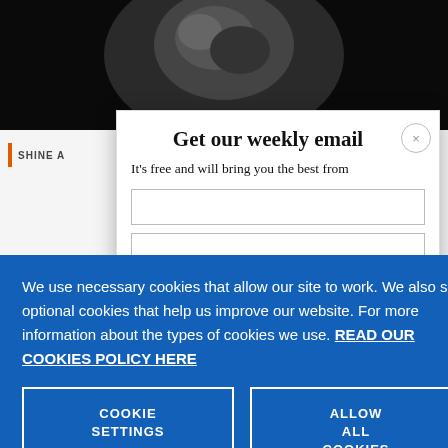[Figure (screenshot): Background webpage with dark photo at top and partial article section labeled SHINE A with orange bar accent]
[Figure (screenshot): Email subscription modal overlay with title 'Get our weekly email', subtitle text, close button, and form fields]
Get our weekly email
It's free and will bring you the best from
We use necessary cookies that allow our site to work. We also set optional cookies that help us improve our website. For more information about the types of cookies we use. READ OUR COOKIES POLICY HERE
COOKIE SETTINGS
ALLOW ALL COOKIES
data.